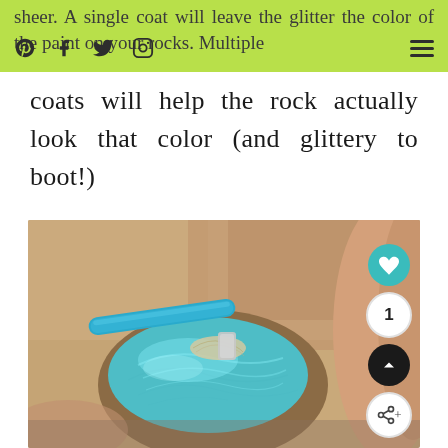sheer. A single coat will leave the glitter the color of the paint on your rocks. Multiple
coats will help the rock actually look that color (and glittery to boot!)
[Figure (photo): Close-up photo of a hand holding a rock being painted with a light blue paint using a brush with a cyan/blue handle. The rock is partially covered in blue glittery paint.]